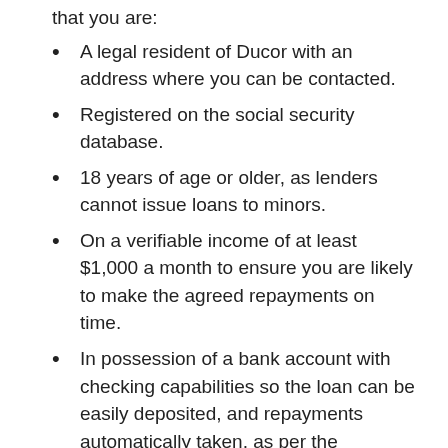that you are:
A legal resident of Ducor with an address where you can be contacted.
Registered on the social security database.
18 years of age or older, as lenders cannot issue loans to minors.
On a verifiable income of at least $1,000 a month to ensure you are likely to make the agreed repayments on time.
In possession of a bank account with checking capabilities so the loan can be easily deposited, and repayments automatically taken, as per the repayment schedule.
Not likely to be called to combat or reserve within 30 days of receiving the